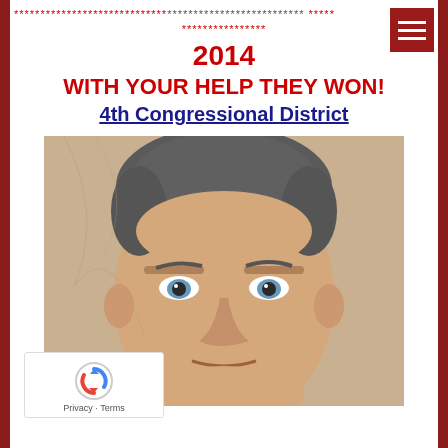************************************************** *****
****************
2014
WITH YOUR HELP THEY WON!
4th Congressional District
[Figure (photo): Close-up portrait photo of a middle-aged man with gray-brown hair and blue eyes, neutral expression, outdoor background.]
[Figure (logo): Google reCAPTCHA logo with Privacy and Terms links]